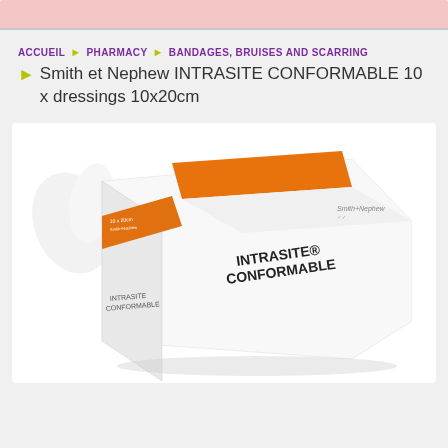ACCUEIL ▶ PHARMACY ▶ BANDAGES, BRUISES AND SCARRING
▶ Smith et Nephew INTRASITE CONFORMABLE 10 x dressings 10x20cm
[Figure (photo): Product photo of Smith & Nephew INTRASITE CONFORMABLE dressing box, white with orange label stripe, shown at an angle on a light surface. Watermark text 'vitalurapharma' visible in background.]